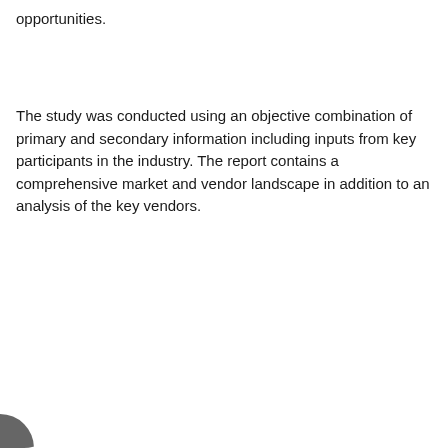opportunities.
The study was conducted using an objective combination of primary and secondary information including inputs from key participants in the industry. The report contains a comprehensive market and vendor landscape in addition to an analysis of the key vendors.